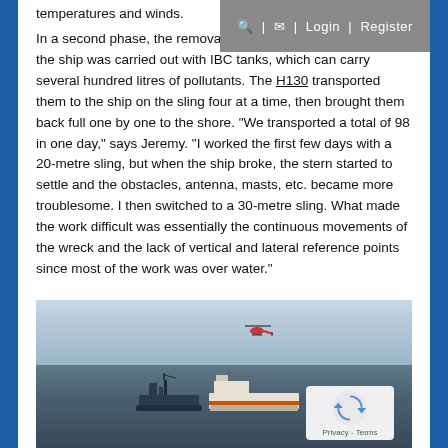🔍  |  ✉  |  Login  |  Register
temperatures and winds.
In a second phase, the removal of pollutants still present on the ship was carried out with IBC tanks, which can carry several hundred litres of pollutants. The H130 transported them to the ship on the sling four at a time, then brought them back full one by one to the shore. "We transported a total of 98 in one day," says Jeremy. "I worked the first few days with a 20-metre sling, but when the ship broke, the stern started to settle and the obstacles, antenna, masts, etc. became more troublesome. I then switched to a 30-metre sling. What made the work difficult was essentially the continuous movements of the wreck and the lack of vertical and lateral reference points since most of the work was over water."
[Figure (photo): Aerial/sea level view showing a helicopter in flight over open water with two ships visible in the background. Blue sky with light clouds above.]